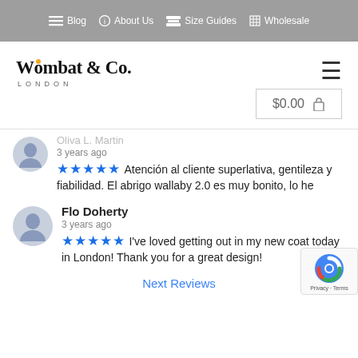Blog | About Us | Size Guides | Wholesale
[Figure (logo): Wombat & Co. London logo with orange dot on the 'o']
$0.00
Oliva L. Martin
3 years ago
★★★★★ Atención al cliente superlativa, gentileza y fiabilidad. El abrigo wallaby 2.0 es muy bonito, lo he comprado verde y es... read more
Flo Doherty
3 years ago
★★★★★ I've loved getting out in my new coat today in London! Thank you for a great design!
Next Reviews